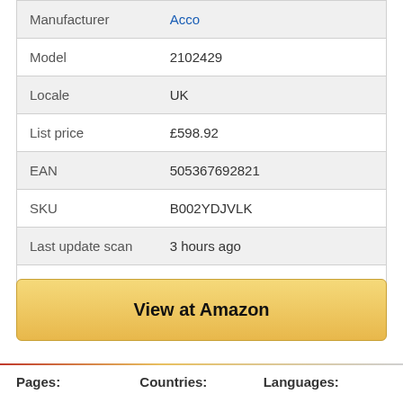| Field | Value |
| --- | --- |
| Manufacturer | Acco |
| Model | 2102429 |
| Locale | UK |
| List price | £598.92 |
| EAN | 505367692821 |
| SKU | B002YDJVLK |
| Last update scan | 3 hours ago |
| Last tracked | on Nov 23, 2018 |
View at Amazon
Pages:   Countries:   Languages: